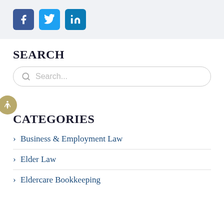[Figure (other): Social media share buttons: Facebook (blue square with f), Twitter (light blue square with bird), LinkedIn (teal square with in)]
SEARCH
[Figure (other): Search input box with magnifying glass icon and placeholder text 'Search...']
[Figure (other): Accessibility icon button (person with arms out) on gold circle]
CATEGORIES
> Business & Employment Law
> Elder Law
> Eldercare Bookkeeping